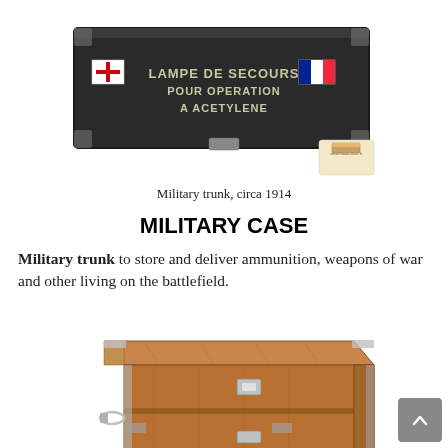[Figure (photo): A dark military trunk/chest with 'LAMPE DE SECOURS POUR OPERATION A ACETYLENE' stenciled on the front, decorated with a red cross flag on the left and French tricolor flag on the right, with metal hardware. Website watermark: www.malle2luxe.fr]
Military trunk, circa 1914
MILITARY CASE
Military trunk to store and deliver ammunition, weapons of war and other living on the battlefield.
[Figure (photo): A wooden military campaign chest/trunk with metal corner reinforcements, side handles, and latches, shown at an angle to reveal the top and front faces.]